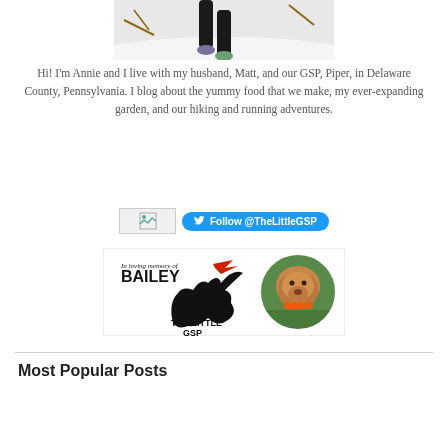[Figure (photo): A person's legs running/walking in the snow, wearing black leggings and colorful sneakers]
Hi! I'm Annie and I live with my husband, Matt, and our GSP, Piper, in Delaware County, Pennsylvania. I blog about the yummy food that we make, my ever-expanding garden, and our hiking and running adventures.
[Figure (logo): Twitter follow button placeholder image and @TheLittleGSP Twitter follow button]
[Figure (logo): The Little GSP logo featuring 'In loving memory of BAILEY' with silhouette of jumping dog and circular photo of a dog wearing an orange collar]
Most Popular Posts